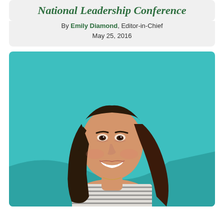National Leadership Conference
By Emily Diamond, Editor-in-Chief
May 25, 2016
[Figure (photo): Young Asian woman with long dark hair smiling, wearing a striped t-shirt, posed against a teal/turquoise background with a wave-like decorative element.]